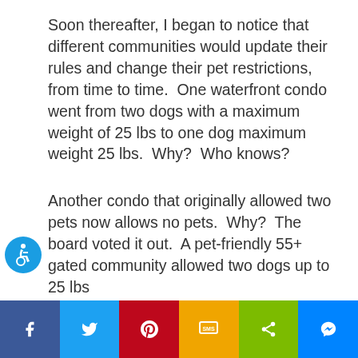Soon thereafter, I began to notice that different communities would update their rules and change their pet restrictions, from time to time.  One waterfront condo went from two dogs with a maximum weight of 25 lbs to one dog maximum weight 25 lbs.  Why?  Who knows?
Another condo that originally allowed two pets now allows no pets.  Why?  The board voted it out.  A pet-friendly 55+ gated community allowed two dogs up to 25 lbs
Social share bar: Facebook, Twitter, Pinterest, SMS, Share, Messenger